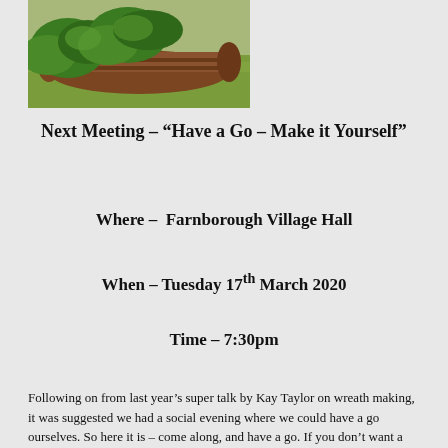[Figure (photo): Outdoor garden photo showing a large rusty barrel/cylinder lying in grass with green leafy plants growing over and around it.]
Next Meeting – “Have a Go – Make it Yourself”
Where –  Farnborough Village Hall
When –  Tuesday 17th March 2020
Time –  7:30pm
Following on from last year’s super talk by Kay Taylor on wreath making, it was suggested we had a social evening where we could have a go ourselves. So here it is – come along, and have a go. If you don’t want a wreath, bring